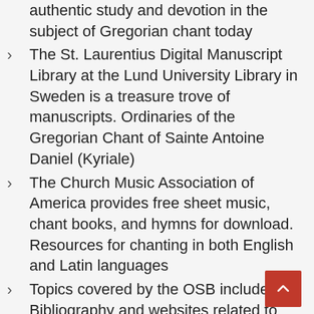authentic study and devotion in the subject of Gregorian chant today
The St. Laurentius Digital Manuscript Library at the Lund University Library in Sweden is a treasure trove of manuscripts. Ordinaries of the Gregorian Chant of Sainte Antoine Daniel (Kyriale)
The Church Music Association of America provides free sheet music, chant books, and hymns for download. Resources for chanting in both English and Latin languages
Topics covered by the OSB include: Bibliography and websites related to